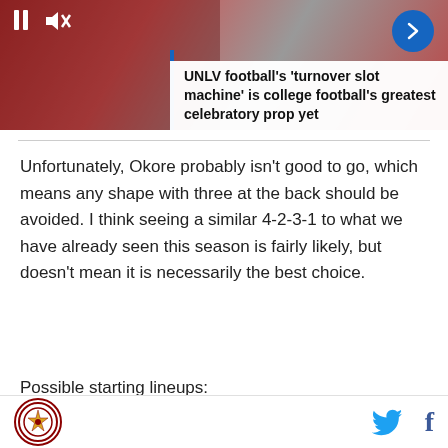[Figure (screenshot): Media card showing sports image (football players) with play/pause and mute controls, blue arrow navigation button, and blue vertical accent bar on the left side of an article title card.]
UNLV football's ‘turnover slot machine’ is college football’s greatest celebratory prop yet
Unfortunately, Okore probably isn't good to go, which means any shape with three at the back should be avoided. I think seeing a similar 4-2-3-1 to what we have already seen this season is fairly likely, but doesn't mean it is necessarily the best choice.
Possible starting lineups:
[Figure (other): Green rectangle background, beginning of a football lineup graphic.]
Footer with circular logo icon (SB Nation style) on left, Twitter bird icon and Facebook 'f' icon on right.